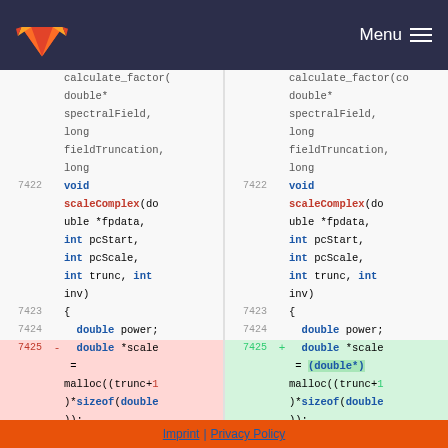GitLab — Menu
calculate_factor( double* spectralField, long fieldTruncation, long
void scaleComplex(double *fpdata, int pcStart, int pcScale, int trunc, int inv)
{
    double power;
    double *scale = malloc((trunc+1)*sizeof(double));
7422 7423 7424 7425 diff shown (left: removed, right: added with cast)
Imprint | Privacy Policy